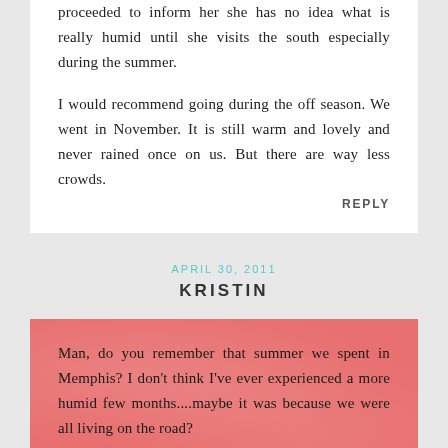proceeded to inform her she has no idea what is really humid until she visits the south especially during the summer.
I would recommend going during the off season. We went in November. It is still warm and lovely and never rained once on us. But there are way less crowds.
REPLY
APRIL 30, 2011
KRISTIN
Man, do you remember that summer we spent in Memphis? I don't think I've ever experienced a more humid few months....maybe it was because we were all living on the road?